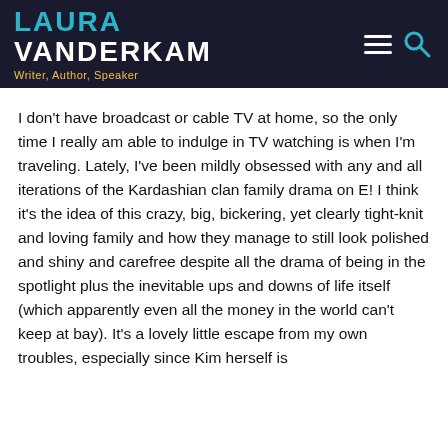LAURA VANDERKAM — Writer, Author, Speaker
I don't have broadcast or cable TV at home, so the only time I really am able to indulge in TV watching is when I'm traveling. Lately, I've been mildly obsessed with any and all iterations of the Kardashian clan family drama on E! I think it's the idea of this crazy, big, bickering, yet clearly tight-knit and loving family and how they manage to still look polished and shiny and carefree despite all the drama of being in the spotlight plus the inevitable ups and downs of life itself (which apparently even all the money in the world can't keep at bay). It's a lovely little escape from my own troubles, especially since Kim herself is